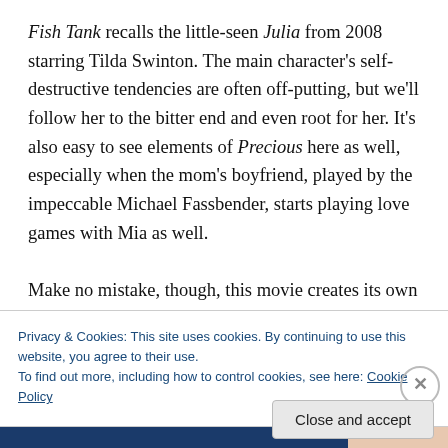Fish Tank recalls the little-seen Julia from 2008 starring Tilda Swinton. The main character's self-destructive tendencies are often off-putting, but we'll follow her to the bitter end and even root for her. It's also easy to see elements of Precious here as well, especially when the mom's boyfriend, played by the impeccable Michael Fassbender, starts playing love games with Mia as well.

Make no mistake, though, this movie creates its own cinematic world. Some of it may not feel as real as the
Privacy & Cookies: This site uses cookies. By continuing to use this website, you agree to their use.
To find out more, including how to control cookies, see here: Cookie Policy
Close and accept